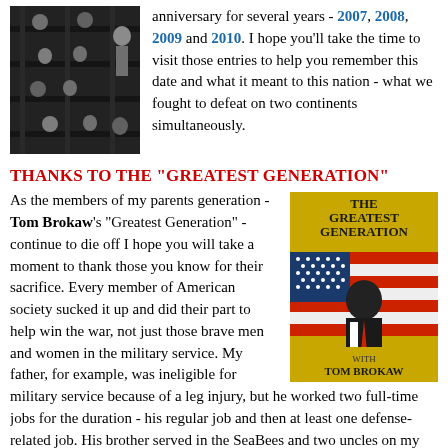[Figure (photo): Black and white historical photo of concentration camp prisoners in bunk beds]
anniversary for several years - 2007, 2008, 2009 and 2010. I hope you'll take the time to visit those entries to help you remember this date and what it meant to this nation - what we fought to defeat on two continents simultaneously.
THANKS TO THE "GREATEST GENERATION"
As the members of my parents generation - Tom Brokaw's "Greatest Generation" - continue to die off I hope you will take a moment to thank those you know for their sacrifice. Every member of American society sucked it up and did their part to help win the war, not just those brave men and women in the military service. My father, for example, was ineligible for military service because of a leg injury, but he worked two full-time jobs for the duration - his regular job and then at least one defense-related job. His brother served in the SeaBees and two uncles on my mother's side served
[Figure (photo): Book cover of 'The Greatest Generation' by Tom Brokaw showing a man in a suit with an American flag background]